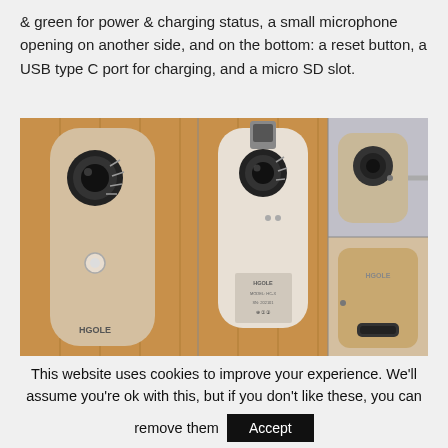& green for power & charging status, a small microphone opening on another side, and on the bottom: a reset button, a USB type C port for charging, and a micro SD slot.
[Figure (photo): Composite photo showing three views of a small HGOLE action camera: front view showing lens and speaker grille against a wooden background, back view showing USB connector and product label, top/side view showing the camera plugged into a port, and bottom view showing the USB-C port and branding.]
This website uses cookies to improve your experience. We'll assume you're ok with this, but if you don't like these, you can remove them Accept